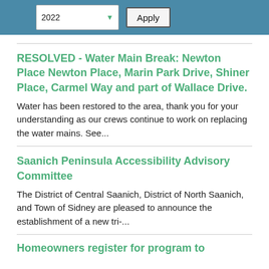RESOLVED - Water Main Break: Newton Place Newton Place, Marin Park Drive, Shiner Place, Carmel Way and part of Wallace Drive.
Water has been restored to the area, thank you for your understanding as our crews continue to work on replacing the water mains. See...
Saanich Peninsula Accessibility Advisory Committee
The District of Central Saanich, District of North Saanich, and Town of Sidney are pleased to announce the establishment of a new tri-...
Homeowners register for program to